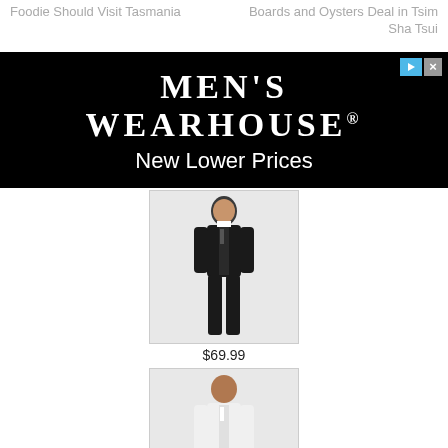Foodie Should Visit Tasmania | Boards and Oysters Deal in Tsim Sha Tsui
[Figure (illustration): Men's Wearhouse advertisement banner with black background showing brand name and 'New Lower Prices' tagline]
[Figure (photo): Man in dark black suit, $69.99]
$69.99
[Figure (photo): Man in white suit, $209.99]
$209.99
[Figure (photo): Man in tan/beige suit with red tie, $219.99]
$219.99